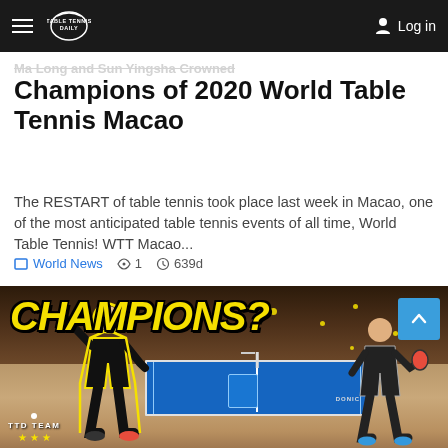TableTennisDaily — Log in
Ma Long and Sun Yingsha Crowned Champions of 2020 World Table Tennis Macao
The RESTART of table tennis took place last week in Macao, one of the most anticipated table tennis events of all time, World Table Tennis! WTT Macao...
World News  1  639d
[Figure (photo): Table tennis match scene with 'CHAMPIONS?' text overlay in large yellow bold italic font. Two players at either side of a blue table tennis table with a referee seated at the side. Indoor arena setting. TTD TEAM badge visible bottom left.]